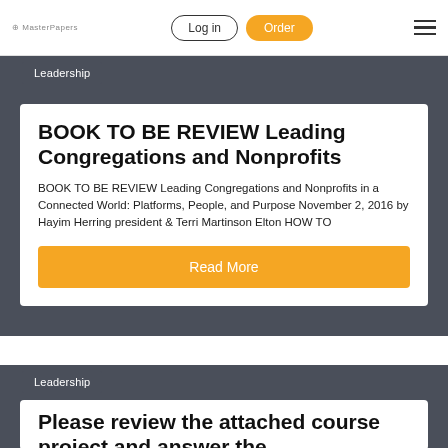Log in | Order
Leadership
BOOK TO BE REVIEW Leading Congregations and Nonprofits
BOOK TO BE REVIEW Leading Congregations and Nonprofits in a Connected World: Platforms, People, and Purpose November 2, 2016 by Hayim Herring president & Terri Martinson Elton HOW TO
Read More
Leadership
Please review the attached course project and answer the